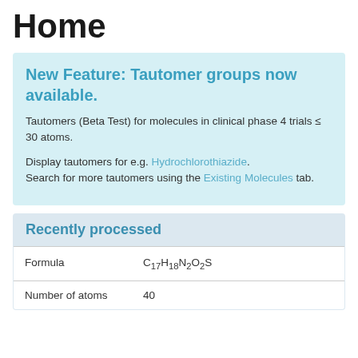Home
New Feature: Tautomer groups now available.
Tautomers (Beta Test) for molecules in clinical phase 4 trials ≤ 30 atoms.
Display tautomers for e.g. Hydrochlorothiazide. Search for more tautomers using the Existing Molecules tab.
Recently processed
| Formula | C17H18N2O2S |
| Number of atoms | 40 |